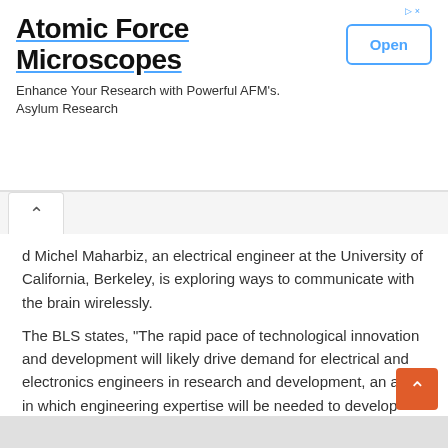[Figure (other): Advertisement banner for Atomic Force Microscopes by Asylum Research with an Open button]
d Michel Maharbiz, an electrical engineer at the University of California, Berkeley, is exploring ways to communicate with the brain wirelessly.
The BLS states, "The rapid pace of technological innovation and development will likely drive demand for electrical and electronics engineers in research and development, an area in which engineering expertise will be needed to develop distribution systems related to new technologies."
Continue Reading about the "Everything you need to know about Electrical Engineering" on the next page below